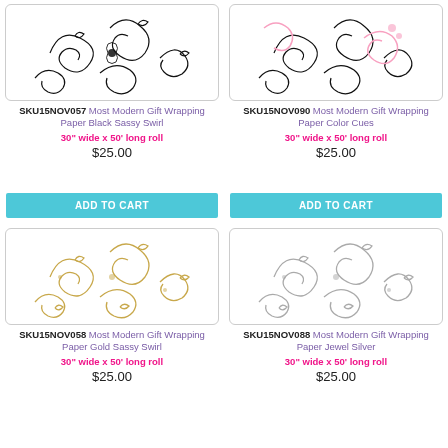[Figure (illustration): Black sassy swirl pattern on white gift wrapping paper]
SKU15NOV057 Most Modern Gift Wrapping Paper Black Sassy Swirl
30" wide x 50' long roll
$25.00
ADD TO CART
[Figure (illustration): Color cues swirl pattern on gift wrapping paper]
SKU15NOV090 Most Modern Gift Wrapping Paper Color Cues
30" wide x 50' long roll
$25.00
ADD TO CART
[Figure (illustration): Gold sassy swirl pattern on white gift wrapping paper]
SKU15NOV058 Most Modern Gift Wrapping Paper Gold Sassy Swirl
30" wide x 50' long roll
$25.00
[Figure (illustration): Silver jewel swirl pattern on white gift wrapping paper]
SKU15NOV088 Most Modern Gift Wrapping Paper Jewel Silver
30" wide x 50' long roll
$25.00